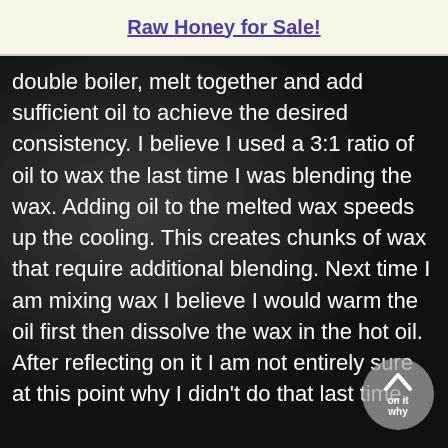Raw Honey for Sale!
double boiler, melt together and add sufficient oil to achieve the desired consistency.  I believe I used a 3:1 ratio of oil to wax the last time I was blending the wax.  Adding oil to the melted wax speeds up the cooling.  This creates chunks of wax that require additional blending.  Next time I am mixing wax I believe I would warm the oil first then dissolve the wax in the hot oil.  After reflecting on it I am not entirely sure at this point why I didn't do that last time.